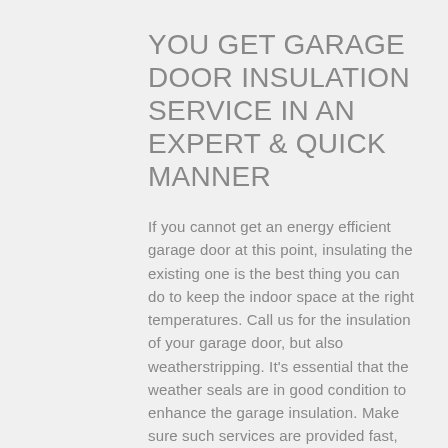YOU GET GARAGE DOOR INSULATION SERVICE IN AN EXPERT & QUICK MANNER
If you cannot get an energy efficient garage door at this point, insulating the existing one is the best thing you can do to keep the indoor space at the right temperatures. Call us for the insulation of your garage door, but also weatherstripping. It's essential that the weather seals are in good condition to enhance the garage insulation. Make sure such services are provided fast, cost a reasonable amount of money, and are completed by the book by calling our team. Call today if you want to learn more about the Deer Park garage door insulation service.